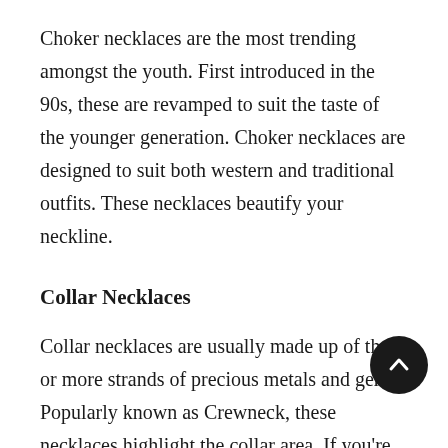Choker necklaces are the most trending amongst the youth. First introduced in the 90s, these are revamped to suit the taste of the younger generation. Choker necklaces are designed to suit both western and traditional outfits. These necklaces beautify your neckline.
Collar Necklaces
Collar necklaces are usually made up of three or more strands of precious metals and gems. Popularly known as Crewneck, these necklaces highlight the collar area. If you're wearing an off-shoulder outfit, this might be the best choice for you. If you want to sport a statement gold necklace, try collar necklaces to stay safe and win